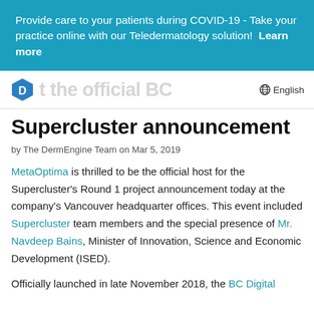Provide care to your patients during COVID-19 - Take your practice online with our Teledermatology solution!  Learn more
Supercluster announcement
by The DermEngine Team on Mar 5, 2019
MetaOptima is thrilled to be the official host for the Supercluster's Round 1 project announcement today at the company's Vancouver headquarter offices. This event included Supercluster team members and the special presence of Mr. Navdeep Bains, Minister of Innovation, Science and Economic Development (ISED).
Officially launched in late November 2018, the BC Digital